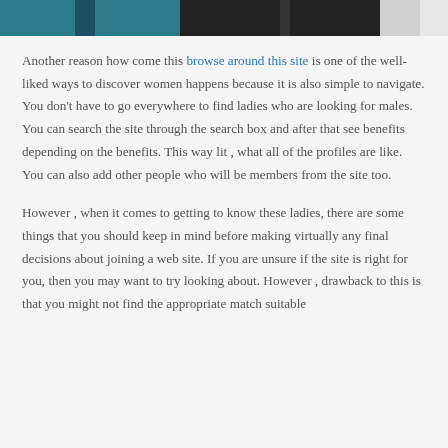[Figure (photo): Partial photo at top of page showing people, cropped at the bottom of a previous section]
Another reason how come this browse around this site is one of the well-liked ways to discover women happens because it is also simple to navigate. You don't have to go everywhere to find ladies who are looking for males. You can search the site through the search box and after that see benefits depending on the benefits. This way lit , what all of the profiles are like. You can also add other people who will be members from the site too.
However , when it comes to getting to know these ladies, there are some things that you should keep in mind before making virtually any final decisions about joining a web site. If you are unsure if the site is right for you, then you may want to try looking about. However , drawback to this is that you might not find the appropriate match suitable